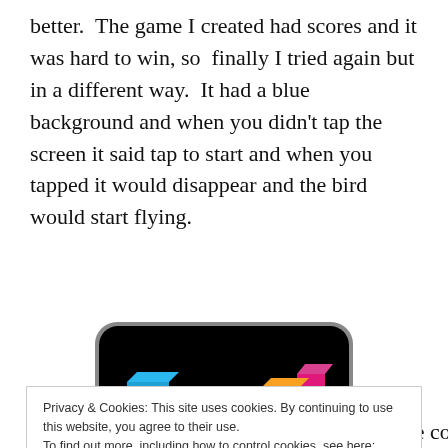better.  The game I created had scores and it was hard to win, so  finally I tried again but in a different way.  It had a blue background and when you didn't tap the screen it said tap to start and when you tapped it would disappear and the bird would start flying.
[Figure (screenshot): Screenshot of a mobile game with colorful 3D block pillars on a black background with rounded corners]
Privacy & Cookies: This site uses cookies. By continuing to use this website, you agree to their use.
To find out more, including how to control cookies, see here: Cookie Policy
see what other people have made and see the codes that